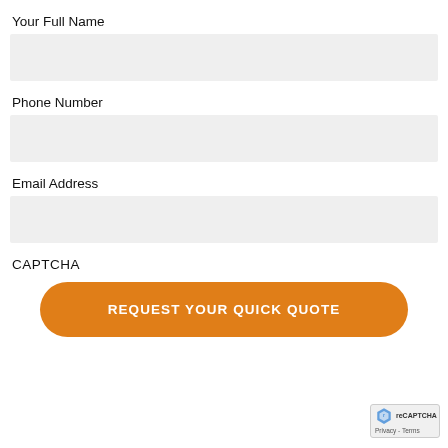Your Full Name
[Figure (other): Empty text input field for full name, light gray background]
Phone Number
[Figure (other): Empty text input field for phone number, light gray background]
Email Address
[Figure (other): Empty text input field for email address, light gray background]
CAPTCHA
REQUEST YOUR QUICK QUOTE
[Figure (other): reCAPTCHA badge with privacy and terms links in bottom right corner]